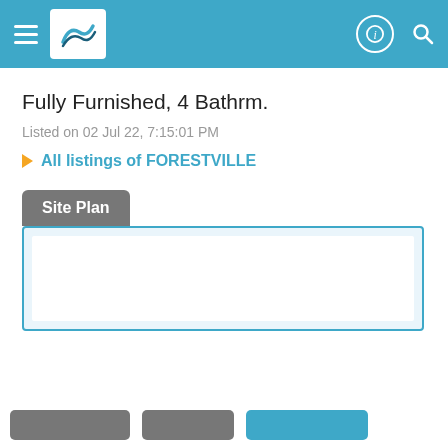Navigation header with hamburger menu, logo, info icon, and search icon
Fully Furnished, 4 Bathrm.
Listed on 02 Jul 22, 7:15:01 PM
▶ All listings of FORESTVILLE
Site Plan
[Figure (other): Blue-bordered white content box for site plan display]
Bottom navigation buttons row